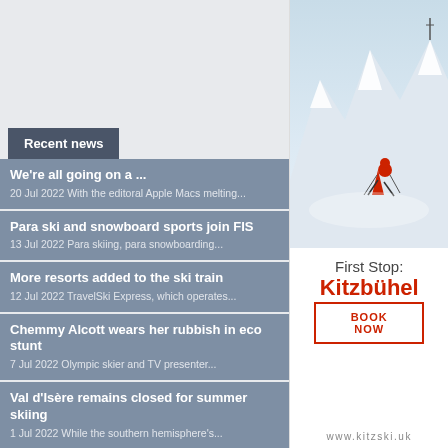Recent news
We're all going on a ...
20 Jul 2022  With the editoral Apple Macs melting...
Para ski and snowboard sports join FIS
13 Jul 2022  Para skiing, para snowboarding...
More resorts added to the ski train
12 Jul 2022  TravelSki Express, which operates...
Chemmy Alcott wears her rubbish in eco stunt
7 Jul 2022  Olympic skier and TV presenter...
Val d'Isère remains closed for summer skiing
1 Jul 2022  While the southern hemisphere's...
Ski mountaineering added to Winter Olympics
[Figure (photo): Advertisement for Kitzbühel skiing resort showing a skier in red on a snowy mountain slope with mountain peaks in background]
First Stop:
Kitzbühel
BOOK NOW
www.kitzski.uk